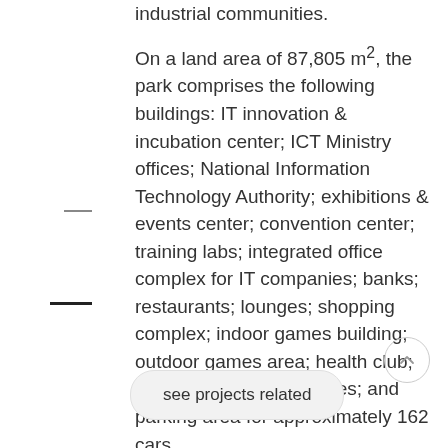industrial communities.

On a land area of 87,805 m², the park comprises the following buildings: IT innovation & incubation center; ICT Ministry offices; National Information Technology Authority; exhibitions & events center; convention center; training labs; integrated office complex for IT companies; banks; restaurants; lounges; shopping complex; indoor games building; outdoor games area; health club; lush green garden; utilities; and parking area for approximately 162 cars.
see projects related